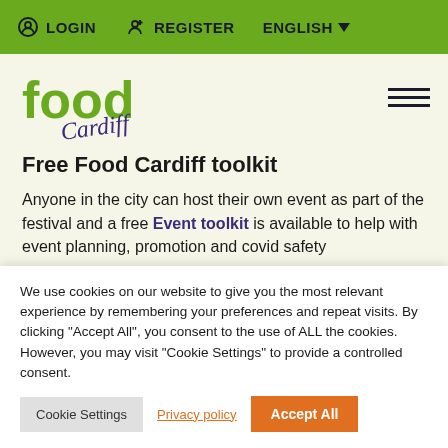LOGIN  REGISTER  ENGLISH
[Figure (logo): Food Cardiff logo with green 'food' text and purple cursive 'Cardiff' script]
Free Food Cardiff toolkit
Anyone in the city can host their own event as part of the festival and a free Event toolkit is available to help with event planning, promotion and covid safety
We use cookies on our website to give you the most relevant experience by remembering your preferences and repeat visits. By clicking "Accept All", you consent to the use of ALL the cookies. However, you may visit "Cookie Settings" to provide a controlled consent.
Cookie Settings  Privacy policy  Accept All